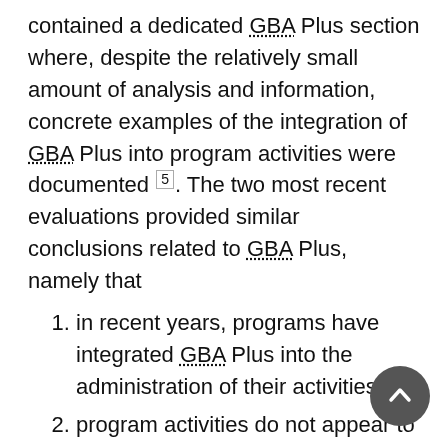contained a dedicated GBA Plus section where, despite the relatively small amount of analysis and information, concrete examples of the integration of GBA Plus into program activities were documented [5]. The two most recent evaluations provided similar conclusions related to GBA Plus, namely that
in recent years, programs have integrated GBA Plus into the administration of their activities;
program activities do not appear to have had a negative impacts on diverse groups of women, men and non-binary